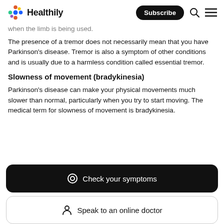Healthily — Subscribe
when the limb is being used.
The presence of a tremor does not necessarily mean that you have Parkinson's disease. Tremor is also a symptom of other conditions and is usually due to a harmless condition called essential tremor.
Slowness of movement (bradykinesia)
Parkinson's disease can make your physical movements much slower than normal, particularly when you try to start moving. The medical term for slowness of movement is bradykinesia.
Check your symptoms
Speak to an online doctor